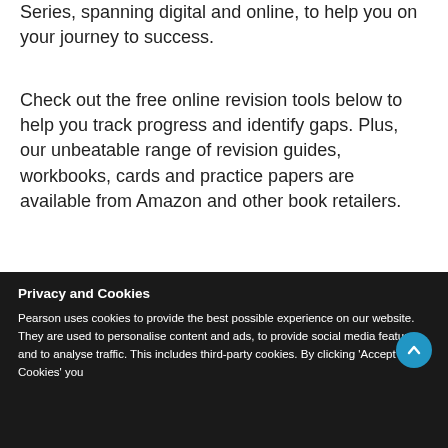Series, spanning digital and online, to help you on your journey to success.
Check out the free online revision tools below to help you track progress and identify gaps. Plus, our unbeatable range of revision guides, workbooks, cards and practice papers are available from Amazon and other book retailers.
[Figure (photo): Photo of a person (appears to be a woman with blonde hair) against a pink/magenta background, cropped to show from approximately the shoulders upward, partially cut off at the bottom of the visible area.]
Privacy and Cookies
Pearson uses cookies to provide the best possible experience on our website. They are used to personalise content and ads, to provide social media features and to analyse traffic. This includes third-party cookies. By clicking 'Accept Cookies' you